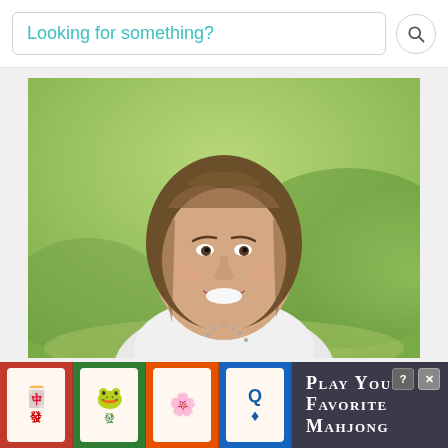[Figure (screenshot): Search bar with placeholder text 'Looking for something?' in teal color, and a circular search icon on the right]
[Figure (photo): Portrait photo of a smiling woman with long brown hair wearing a white top, photographed outdoors against a blurred green background]
[Figure (other): Advertisement banner for 'Play Your Favorite Mahjong' showing four mahjong tile icons (red, green, orange, blue) with Chinese characters and symbols, and text on dark background with help and close icons]